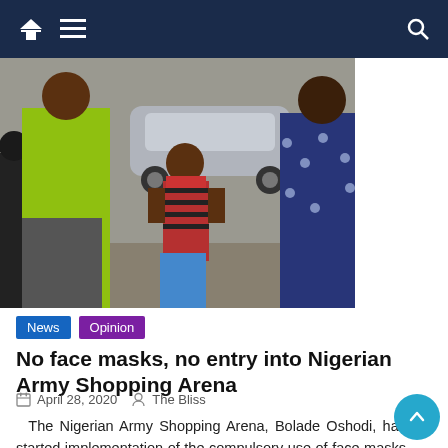Navigation bar with home, menu, and search icons
[Figure (photo): Outdoor street scene showing a child in a red striped shirt being given a face mask by a person in a yellow/green t-shirt, with a woman in a patterned blue dress visible on the right and a silver car in the background]
News  Opinion
No face masks, no entry into Nigerian Army Shopping Arena
April 28, 2020   The Bliss
The Nigerian Army Shopping Arena, Bolade Oshodi, has started implementation of the compulsory use of face masks in public places order as imposed by the Lagos State